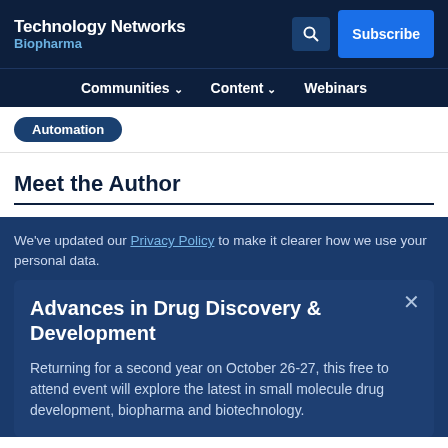Technology Networks Biopharma
Communities ∨   Content ∨   Webinars
Automation
Meet the Author
We've updated our Privacy Policy to make it clearer how we use your personal data.
Advances in Drug Discovery & Development
Returning for a second year on October 26-27, this free to attend event will explore the latest in small molecule drug development, biopharma and biotechnology.